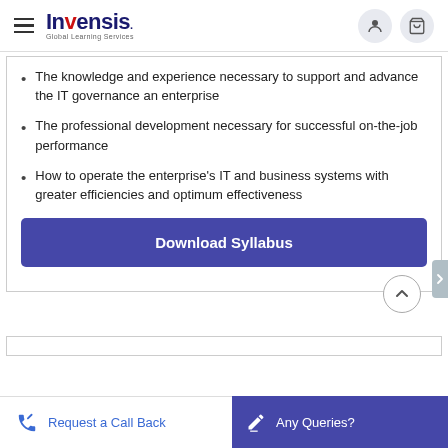[Figure (logo): Invensis Global Learning Services logo with hamburger menu and user/cart icons]
The knowledge and experience necessary to support and advance the IT governance an enterprise
The professional development necessary for successful on-the-job performance
How to operate the enterprise's IT and business systems with greater efficiencies and optimum effectiveness
Download Syllabus
Request a Call Back
Any Queries?